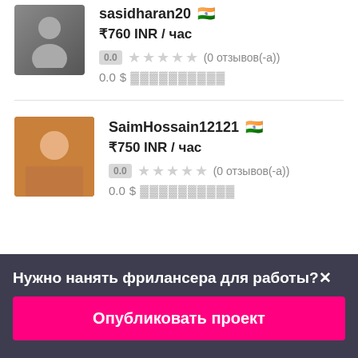sasidharan20 🇮🇳
₹760 INR / час
0.0 ☆☆☆☆☆ (0 отзывов(-а))
0.0 $
SaimHossain12121 🇮🇳
₹750 INR / час
0.0 ☆☆☆☆☆ (0 отзывов(-а))
0.0 $
Нужно нанять фрилансера для работы?✕
Опубликовать проект